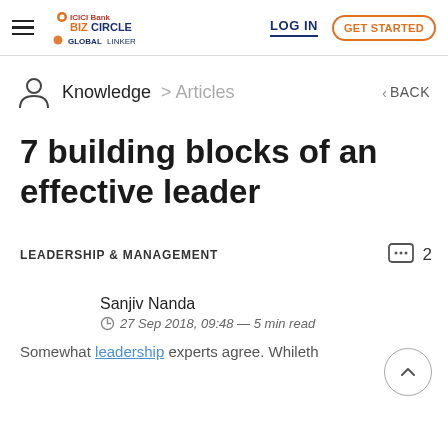ICICI Bank BizCircle GlobalLinker — LOG IN | GET STARTED
Knowledge > Articles
7 building blocks of an effective leader
LEADERSHIP & MANAGEMENT   2 comments
Sanjiv Nanda
27 Sep 2018, 09:48 — 5 min read